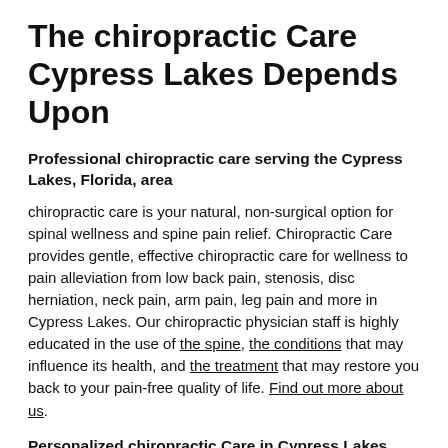The chiropractic Care Cypress Lakes Depends Upon
Professional chiropractic care serving the Cypress Lakes, Florida, area
chiropractic care is your natural, non-surgical option for spinal wellness and spine pain relief. Chiropractic Care provides gentle, effective chiropractic care for wellness to pain alleviation from low back pain, stenosis, disc herniation, neck pain, arm pain, leg pain and more in Cypress Lakes. Our chiropractic physician staff is highly educated in the use of the spine, the conditions that may influence its health, and the treatment that may restore you back to your pain-free quality of life. Find out more about us.
Personalized chiropractic Care in Cypress Lakes
From your first contact with Chiropractic Care scheduling your office visit, you will discover that chiropractic care is the option